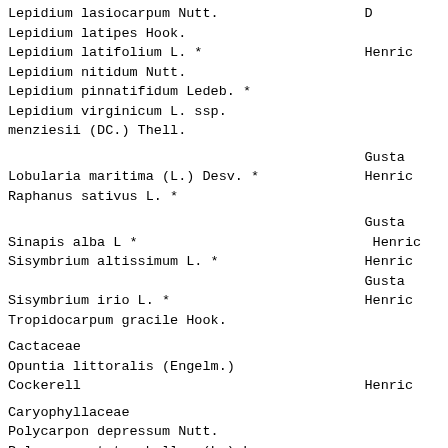Lepidium lasiocarpum Nutt.
Lepidium latipes Hook.
Lepidium latifolium L. *                    Henric
Lepidium nitidum Nutt.
Lepidium pinnatifidum Ledeb. *
Lepidium virginicum L. ssp.
menziesii (DC.) Thell.

                                            Gusta
Lobularia maritima (L.) Desv. *             Henric
Raphanus sativus L. *

                                            Gusta
Sinapis alba L *                            Henric
Sisymbrium altissimum L. *                  Henric
                                            Gusta
Sisymbrium irio L. *                        Henric
Tropidocarpum gracile Hook.

Cactaceae
Opuntia littoralis (Engelm.)
Cockerell                                   Henric

Caryophyllaceae
Polycarpon depressum Nutt.
Polycarpon tetraphyllum (L.) L. var.
tetraphyllum *                              RS